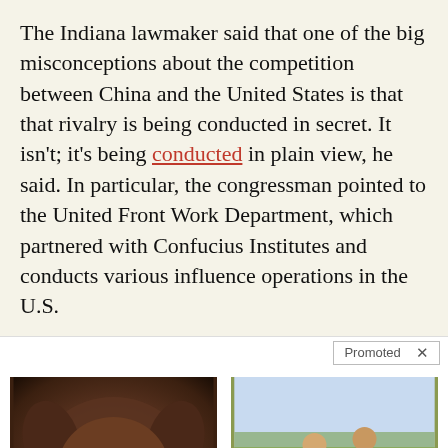The Indiana lawmaker said that one of the big misconceptions about the competition between China and the United States is that that rivalry is being conducted in secret. It isn't; it's being conducted in plain view, he said. In particular, the congressman pointed to the United Front Work Department, which partnered with Confucius Institutes and conducts various influence operations in the U.S.
[Figure (other): Promoted content bar with X close button]
[Figure (photo): Close-up photo of a brown/chocolate dog's face lying down]
3 Ways Your Dog Asks For Help
🔥 184
[Figure (photo): Two workers on a rooftop doing roofing work, outdoor setting]
Forget Expensive Roofing (Do This Instead) - See Options
🔥 545